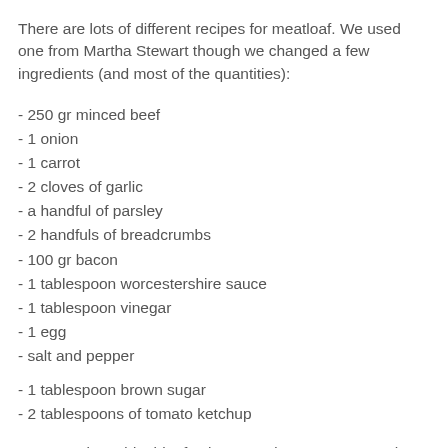There are lots of different recipes for meatloaf. We used one from Martha Stewart though we changed a few ingredients (and most of the quantities):
- 250 gr minced beef
- 1 onion
- 1 carrot
- 2 cloves of garlic
- a handful of parsley
- 2 handfuls of breadcrumbs
- 100 gr bacon
- 1 tablespoon worcestershire sauce
- 1 tablespoon vinegar
- 1 egg
- salt and pepper
- 1 tablespoon brown sugar
- 2 tablespoons of tomato ketchup
You can also add a bit of celery or red pepper or any other kind of herb.